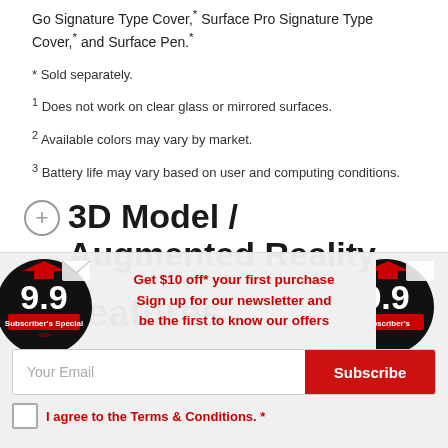Go Signature Type Cover,* Surface Pro Signature Type Cover,* and Surface Pen.*
* Sold separately.
¹ Does not work on clear glass or mirrored surfaces.
² Available colors may vary by market.
³ Battery life may vary based on user and computing conditions.
3D Model / Augmented Reality
Features
[Figure (illustration): Promotional popup banner with 9.9 Subscriber's Special badge, newsletter signup text, email input field, subscribe button, and terms checkbox.]